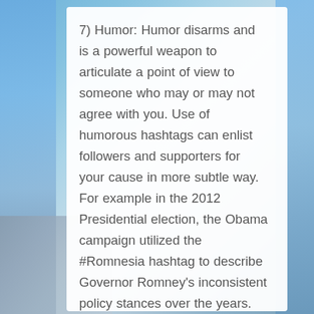7) Humor: Humor disarms and is a powerful weapon to articulate a point of view to someone who may or may not agree with you. Use of humorous hashtags can enlist followers and supporters for your cause in more subtle way. For example in the 2012 Presidential election, the Obama campaign utilized the #Romnesia hashtag to describe Governor Romney's inconsistent policy stances over the years. Many hashtags or slogans that are started in earnest by a campaign or group can become hijacked by the opposite side who use the